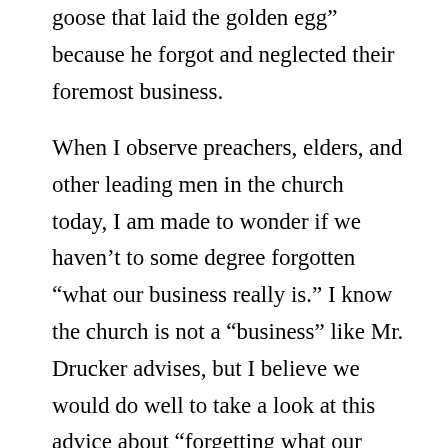goose that laid the golden egg” because he forgot and neglected their foremost business.
When I observe preachers, elders, and other leading men in the church today, I am made to wonder if we haven’t to some degree forgotten “what our business really is.” I know the church is not a “business” like Mr. Drucker advises, but I believe we would do well to take a look at this advice about “forgetting what our business realty is.”